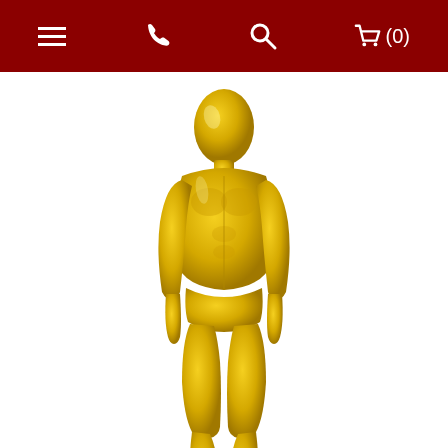Navigation header with menu, phone, search, and cart (0) icons
[Figure (photo): Athletic Male Mannequin in Glossy Yellow, full body standing pose on black circular base]
Athletic Male Mannequin in Glossy Yellow
Price: $309.94
ADD TO CART
[Figure (photo): Second mannequin product partially visible at bottom of page, gold colored male mannequin upper body]